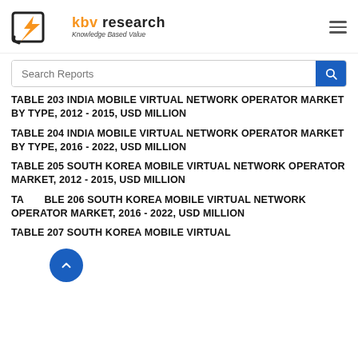KBV Research - Knowledge Based Value
TABLE 203 INDIA MOBILE VIRTUAL NETWORK OPERATOR MARKET BY TYPE, 2012 - 2015, USD MILLION
TABLE 204 INDIA MOBILE VIRTUAL NETWORK OPERATOR MARKET BY TYPE, 2016 - 2022, USD MILLION
TABLE 205 SOUTH KOREA MOBILE VIRTUAL NETWORK OPERATOR MARKET, 2012 - 2015, USD MILLION
TABLE 206 SOUTH KOREA MOBILE VIRTUAL NETWORK OPERATOR MARKET, 2016 - 2022, USD MILLION
TABLE 207 SOUTH KOREA MOBILE VIRTUAL